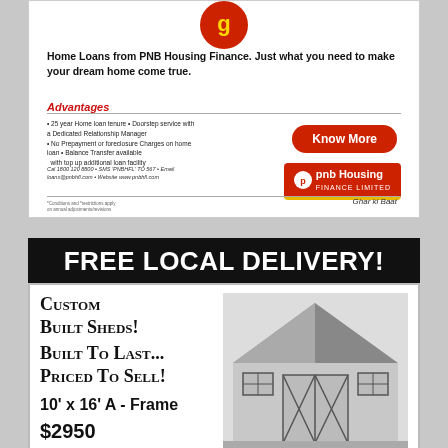[Figure (illustration): PNB Housing Finance advertisement. Top section shows logo, headline about home loans, advantages list, Know More button, and PNB Housing logo.]
Home Loans from PNB Housing Finance. Just what you need to make your dream home come true.
Advantages
25 year Home loan tenure • Doorstep service with a Dedicated Relationship Manager
No Prepayment or foreclosure Charges on home loan • Balance Transfer available with top up additional loan facility
Cal 1800 120 8800 • SMS 'PNBHFL' TO 567 • Email loans@pnbhfl.com • Website www.pnbhfl.com
[Figure (illustration): Custom Built Sheds advertisement. Black header with FREE LOCAL DELIVERY. Text: Custom Built Sheds! Built To Last... Priced To Sell! 10' x 16' A-Frame $2950. Photo of a white garden shed.]
FREE LOCAL DELIVERY!
Custom Built Sheds! Built To Last... Priced To Sell!
10' x 16' A - Frame $2950